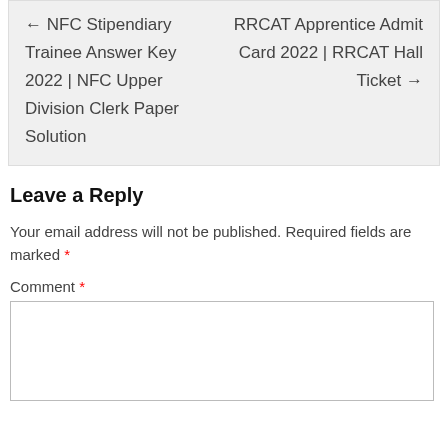← NFC Stipendiary Trainee Answer Key 2022 | NFC Upper Division Clerk Paper Solution
RRCAT Apprentice Admit Card 2022 | RRCAT Hall Ticket →
Leave a Reply
Your email address will not be published. Required fields are marked *
Comment *